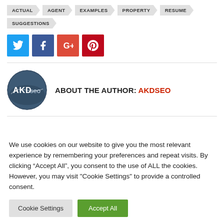ACTUAL
AGENT
EXAMPLES
PROPERTY
RESUME
SUGGESTIONS
[Figure (infographic): Social media share buttons: Twitter (blue), Facebook (dark blue), Google+ (red-orange), Pinterest (dark red)]
ABOUT THE AUTHOR: AKDSEO
[Figure (logo): AKDseo circular logo with dark blue background and white text]
We use cookies on our website to give you the most relevant experience by remembering your preferences and repeat visits. By clicking “Accept All”, you consent to the use of ALL the cookies. However, you may visit "Cookie Settings" to provide a controlled consent.
Cookie Settings | Accept All